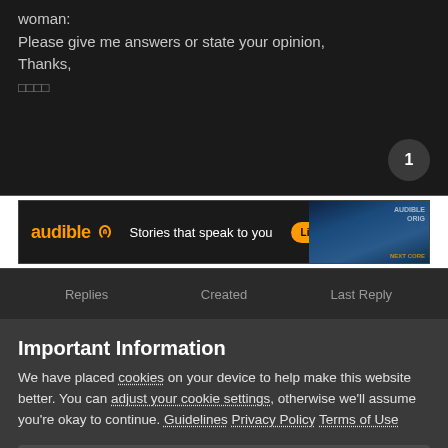woman:
Please give me answers or state your opinion,
Thanks,
□□□□
[Figure (infographic): Audible advertisement banner: audible logo with orange lightning bolt, text 'Stories that speak to you', orange CTA button 'Listen free for 30 days', background book cover imagery]
| Replies | Created | Last Reply |
| --- | --- | --- |
Important Information
We have placed cookies on your device to help make this website better. You can adjust your cookie settings, otherwise we'll assume you're okay to continue. Guidelines Privacy Policy Terms of Use
✓ I accept